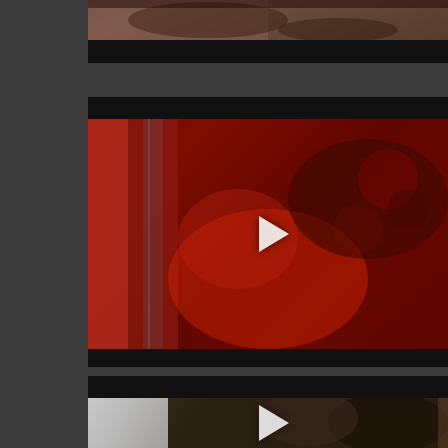[Figure (screenshot): Top partial video card showing video thumbnail (cropped) with dark progress bar below, on dark grey background]
[Figure (screenshot): Middle video card with red-tinted video thumbnail showing a scene lit in red, with white play button overlay, title bar above and progress bar below]
[Figure (screenshot): Bottom partial video card showing dark video thumbnail with window and dark figures, white play button overlay, title bar above]